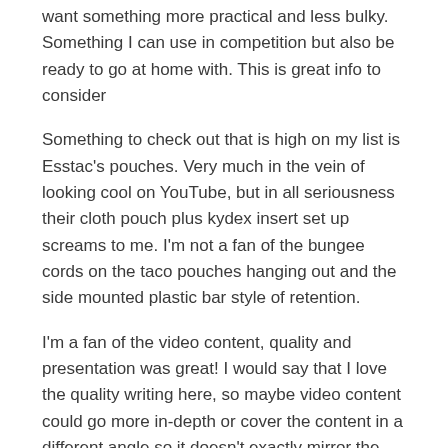want something more practical and less bulky. Something I can use in competition but also be ready to go at home with. This is great info to consider
Something to check out that is high on my list is Esstac's pouches. Very much in the vein of looking cool on YouTube, but in all seriousness their cloth pouch plus kydex insert set up screams to me. I'm not a fan of the bungee cords on the taco pouches hanging out and the side mounted plastic bar style of retention.
I'm a fan of the video content, quality and presentation was great! I would say that I love the quality writing here, so maybe video content could go more in-depth or cover the content in a different angle so it doesn't exactly mirror the article but adds additional depth. Stuff in field, in use at competition or class, before and after of how it ended up here, etc. just food for thought .